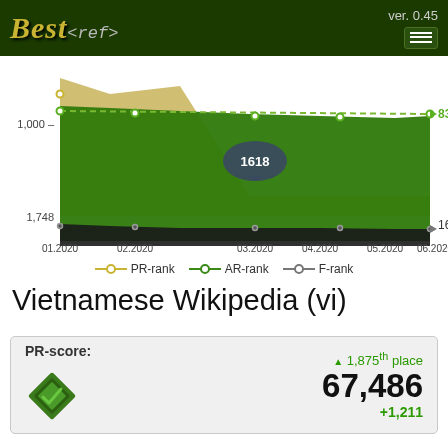[Figure (line-chart): Rank chart Jan-Jun 2020]
PR-rank  AR-rank  F-rank
Vietnamese Wikipedia (vi)
PR-score: ▲ 1,875th place 67,486 +1,211
AR-score: ▲ 4,091st place 4,487